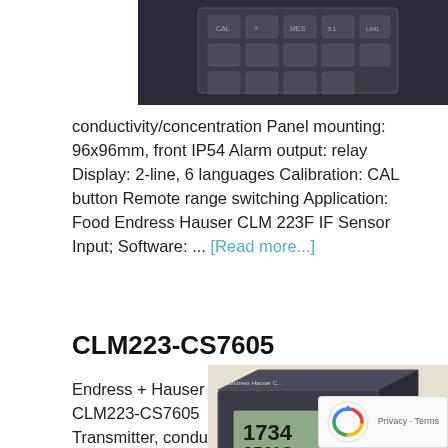[Figure (photo): Dark panel-mounted transmitter device with buttons, top right of page]
conductivity/concentration Panel mounting: 96x96mm, front IP54 Alarm output: relay Display: 2-line, 6 languages Calibration: CAL button Remote range switching Application: Food Endress Hauser CLM 223F IF Sensor Input; Software: ... [Read more...]
CLM223-CS7605
Endress + Hauser CLM223-CS7605 Transmitter, conductivity Panel mounting: 96x96mm, front IP54
[Figure (photo): Endress Hauser CLM transmitter device showing LCD display reading 1734 and 250°C]
[Figure (other): reCAPTCHA widget with Privacy - Terms text]